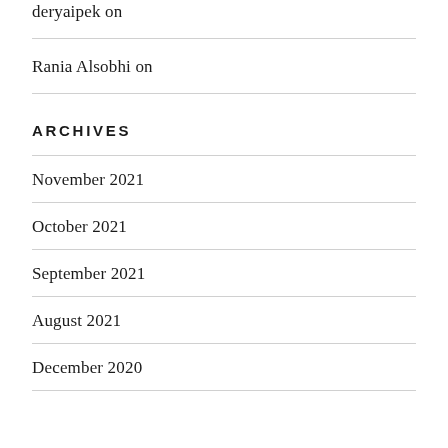deryaipek on
Rania Alsobhi on
ARCHIVES
November 2021
October 2021
September 2021
August 2021
December 2020